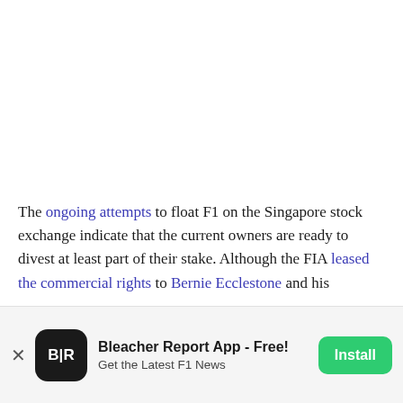The ongoing attempts to float F1 on the Singapore stock exchange indicate that the current owners are ready to divest at least part of their stake. Although the FIA leased the commercial rights to Bernie Ecclestone and his
[Figure (other): Bleacher Report app advertisement banner with BR logo, app title 'Bleacher Report App - Free!', subtitle 'Get the Latest F1 News', and green Install button]